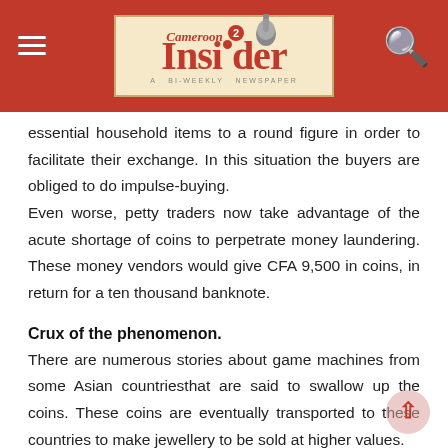Cameroon Insider — A Bi-Weekly Newspaper
essential household items to a round figure in order to facilitate their exchange. In this situation the buyers are obliged to do impulse-buying. Even worse, petty traders now take advantage of the acute shortage of coins to perpetrate money laundering. These money vendors would give CFA 9,500 in coins, in return for a ten thousand banknote.
Crux of the phenomenon.
There are numerous stories about game machines from some Asian countriesthat are said to swallow up the coins. These coins are eventually transported to these countries to make jewellery to be sold at higher values.
However, Professor Georges Mbondo, an economic analyst in